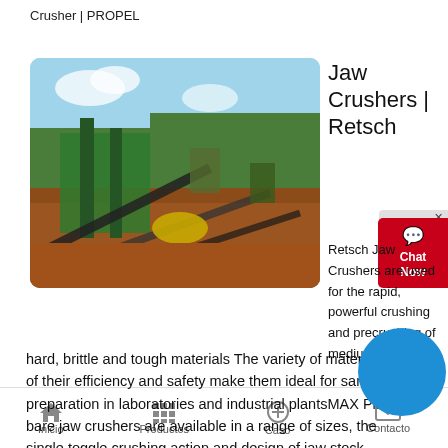Crusher | PROPEL
[Figure (photo): Outdoor industrial jaw crusher plant with conveyor belts, heavy machinery, and red/brown earthen terrain under a blue sky with trees in background]
Jaw Crushers | Retsch
Retsch Jaw Crushers are used for the rapid, powerful crushing and precrushing of medium hard, brittle and tough materials The variety of materials of their efficiency and safety make them ideal for sample preparation in laboratories and industrial plantsMAX Plant bare jaw crushers are available in a range of sizes, the single toggle crushing action and design of jaw stock geometry perfected over many years gives
Inicio   Productos   Caso   Contacto